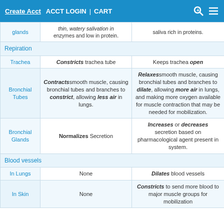Create Acct  ACCT LOGIN  |  CART
|  | Parasympathetic (Rest) | Sympathetic (Fight or Flight) |
| --- | --- | --- |
| glands | thin, watery salivation in enzymes and low in protein. | saliva rich in proteins. |
| Repiration |  |  |
| Trachea | Constricts trachea tube | Keeps trachea open |
| Bronchial Tubes | Contracts smooth muscle, causing bronchial tubes and branches to constrict, allowing less air in lungs. | Relaxes smooth muscle, causing bronchial tubes and branches to dilate, allowing more air in lungs, and making more oxygen available for muscle contraction that may be needed for mobilization. |
| Bronchial Glands | Normalizes Secretion | Increases or decreases secretion based on pharmacological agent present in system. |
| Blood vessels |  |  |
| In Lungs | None | Dilates blood vessels |
| In Skin | None | Constricts to send more blood to major muscle groups for mobilization |